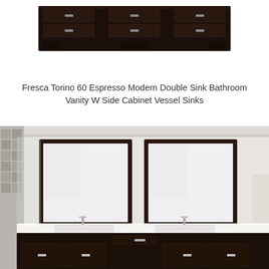[Figure (photo): Top portion of a dark espresso bathroom vanity with multiple drawers and cabinet sections, viewed from above/front, white background.]
Fresca Torino 60 Espresso Modern Double Sink Bathroom Vanity W Side Cabinet Vessel Sinks
[Figure (photo): Bathroom scene showing a dark espresso double sink vanity with white countertop, two undermount sinks with chrome faucets, and two rectangular dark-framed mirrors mounted on a light grey wall. Left side shows a tiled shower enclosure.]